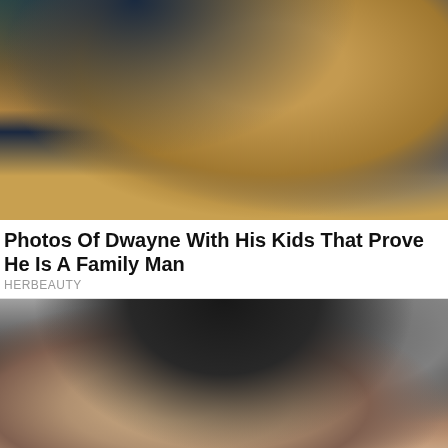[Figure (photo): Photo of Dwayne Johnson holding a baby, showing his tattooed chest and wearing a cross necklace, green background]
Photos Of Dwayne With His Kids That Prove He Is A Family Man
HERBEAUTY
[Figure (photo): Close-up photo of a dark-haired woman against a gray background]
⊙ X   ˅
Garage Door Repair Service Near Me: Top Searches
Get all the information you need on the go, right here with Yahoo Search!
continue